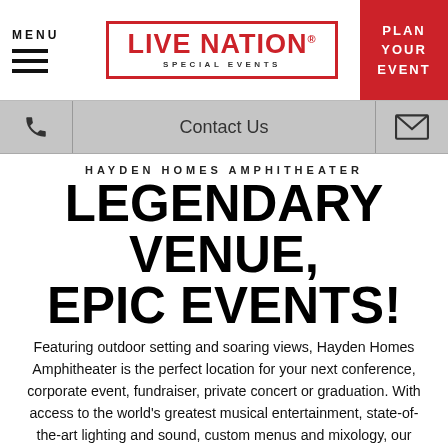MENU | LIVE NATION SPECIAL EVENTS | PLAN YOUR EVENT
Contact Us
HAYDEN HOMES AMPHITHEATER
LEGENDARY VENUE, EPIC EVENTS!
Featuring outdoor setting and soaring views, Hayden Homes Amphitheater is the perfect location for your next conference, corporate event, fundraiser, private concert or graduation. With access to the world's greatest musical entertainment, state-of-the-art lighting and sound, custom menus and mixology, our talented staff handles every detail, so you don't have to. Accommodating up to 8,000 guests, and located along the Deschutes River, this unique venue will exceed expectations.